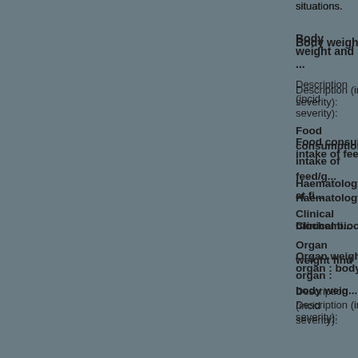situations.
Body weight and ...
Description (incidence, severity):
Food consumption and/or ... intake of feed/g...
Haematology at fi...
Clinical biochemi...
Organ weight findings: organ : body weig...
Description (incidence, severity):
Gross pathological...
Description (incidence, severity):